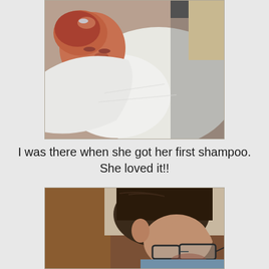[Figure (photo): Photo of a newborn baby getting a shampoo/hair wash, viewed from above, baby's face visible with eyes closed, near a white basin or sink.]
I was there when she got her first shampoo. She loved it!!
[Figure (photo): Photo of a man with dark hair and glasses, seen from the side/behind, in a room with wooden furniture visible in background.]